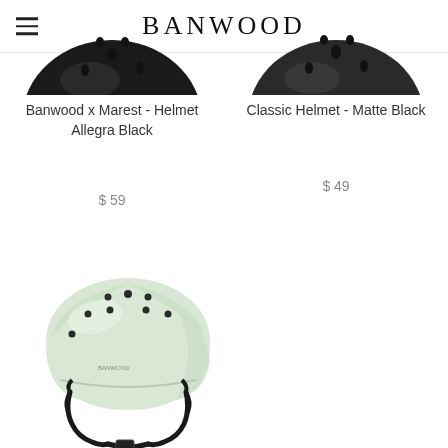BANWOOD
[Figure (photo): Partial top view of a dark/black helmet, cropped at top]
Banwood x Marest - Helmet Allegra Black
$ 59
[Figure (photo): Partial top view of a dark/black classic helmet, cropped at top]
Classic Helmet - Matte Black
$ 49
[Figure (photo): A cream/mint colored classic bicycle helmet with black straps and ventilation holes, Banwood brand label visible]